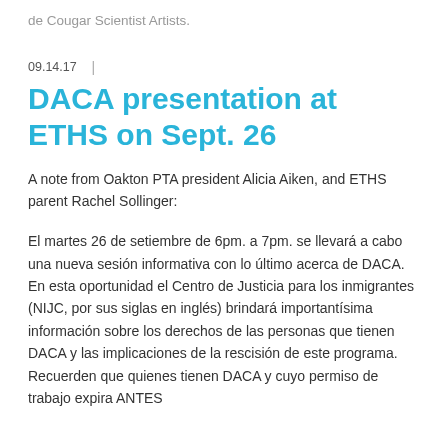de Cougar Scientist Artists.
09.14.17  |
DACA presentation at ETHS on Sept. 26
A note from Oakton PTA president Alicia Aiken, and ETHS parent Rachel Sollinger:
El martes 26 de setiembre de 6pm. a 7pm. se llevará a cabo una nueva sesión informativa con lo último acerca de DACA. En esta oportunidad el Centro de Justicia para los inmigrantes (NIJC, por sus siglas en inglés) brindará importantísima información sobre los derechos de las personas que tienen DACA y las implicaciones de la rescisión de este programa. Recuerden que quienes tienen DACA y cuyo permiso de trabajo expira ANTES